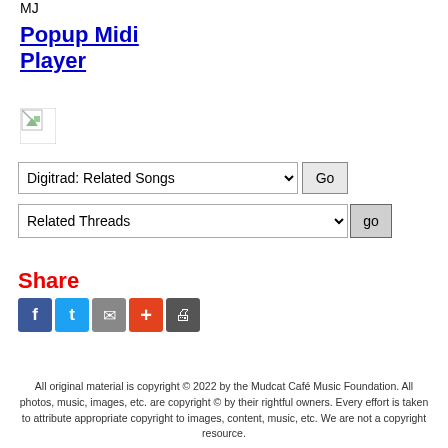MJ
Popup Midi Player
[Figure (illustration): Broken image placeholder icon]
Digitrad: Related Songs [dropdown] Go
Related Threads [dropdown] go
Share
[Figure (infographic): Share icons: Facebook, Twitter, Email, Add, Print]
All original material is copyright © 2022 by the Mudcat Café Music Foundation. All photos, music, images, etc. are copyright © by their rightful owners. Every effort is taken to attribute appropriate copyright to images, content, music, etc. We are not a copyright resource.